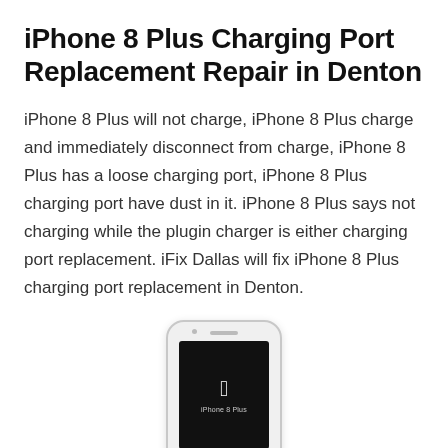iPhone 8 Plus Charging Port Replacement Repair in Denton
iPhone 8 Plus will not charge, iPhone 8 Plus charge and immediately disconnect from charge, iPhone 8 Plus has a loose charging port, iPhone 8 Plus charging port have dust in it. iPhone 8 Plus says not charging while the plugin charger is either charging port replacement. iFix Dallas will fix iPhone 8 Plus charging port replacement in Denton.
[Figure (illustration): An iPhone 8 Plus device with a black screen showing the Apple logo and the text 'iPhone 8 Plus' below it.]